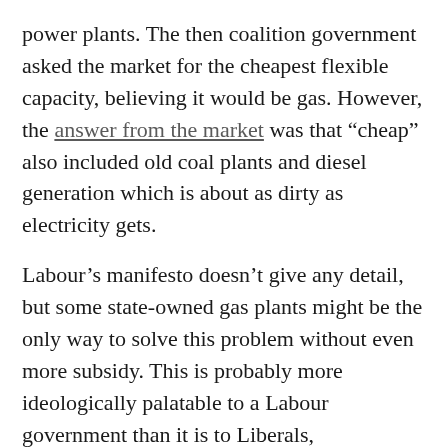power plants. The then coalition government asked the market for the cheapest flexible capacity, believing it would be gas. However, the answer from the market was that "cheap" also included old coal plants and diesel generation which is about as dirty as electricity gets.
Labour's manifesto doesn't give any detail, but some state-owned gas plants might be the only way to solve this problem without even more subsidy. This is probably more ideologically palatable to a Labour government than it is to Liberals, Conservatives or even Greens.
The grid will be publicly-owned
Next the infrastructure, the wires and pipes that move electricity and gas around. Because these systems are natural monopolies run by private